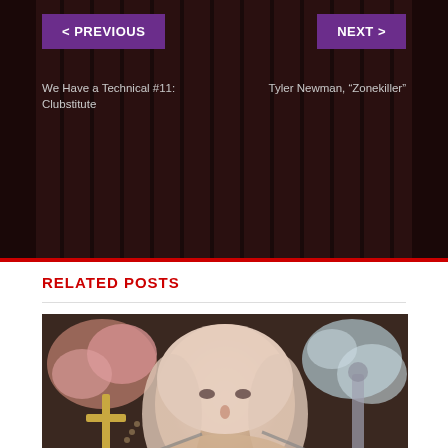< PREVIOUS
NEXT >
We Have a Technical #11: Clubstitute
Tyler Newman, “Zonekiller”
RELATED POSTS
[Figure (photo): Album art photo of a blonde woman lying back with 'CALIGULA' written on her chest in gothic lettering, surrounded by flowers, roses, a decorative cross, and metallic objects]
Tracks: May 4th, 2020